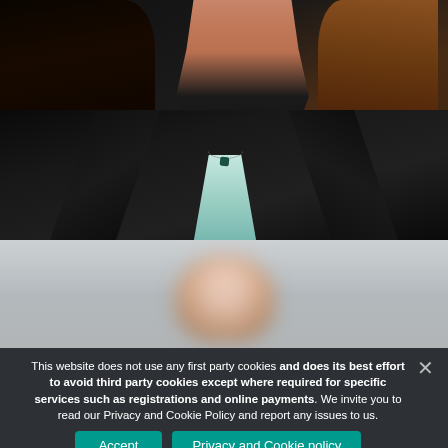[Figure (photo): Top photo: woman with long dark-brown hair wearing a dark navy blazer over a light teal/mint shirt, with a delicate necklace with a small dark pendant. Red flag or background element visible at left. Brown/warm background at right.]
[Figure (photo): Bottom photo (partially visible, blurred): appears to show a person's head/upper body against a light grey background.]
This website does not use any first party cookies and does its best effort to avoid third party cookies except where required for specific services such as registrations and online payments. We invite you to read our Privacy and Cookie Policy and report any issues to us.
Accept
Privacy and Cookie policy